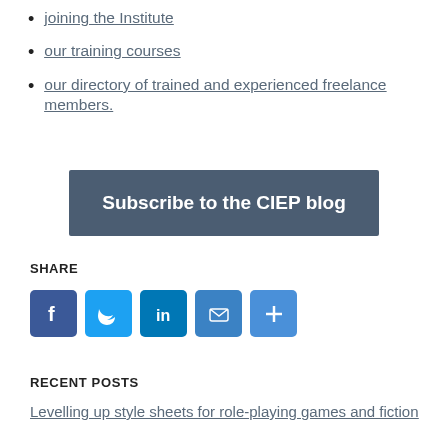joining the Institute
our training courses
our directory of trained and experienced freelance members.
[Figure (other): Subscribe to the CIEP blog button]
SHARE
[Figure (infographic): Social share icons: Facebook, Twitter, LinkedIn, Email, More]
RECENT POSTS
Levelling up style sheets for role-playing games and fiction